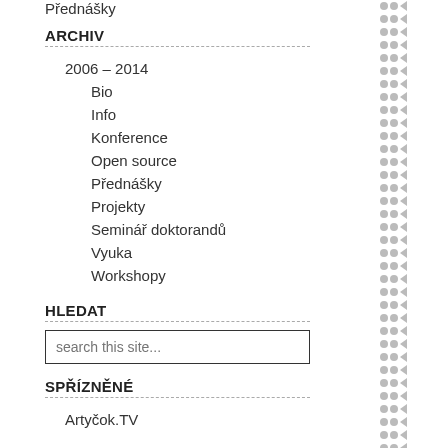Přednášky
ARCHIV
2006 – 2014
Bio
Info
Konference
Open source
Přednášky
Projekty
Seminář doktorandů
Vyuka
Workshopy
HLEDAT
search this site...
SPŘÍZNĚNÉ
Artyčok.TV